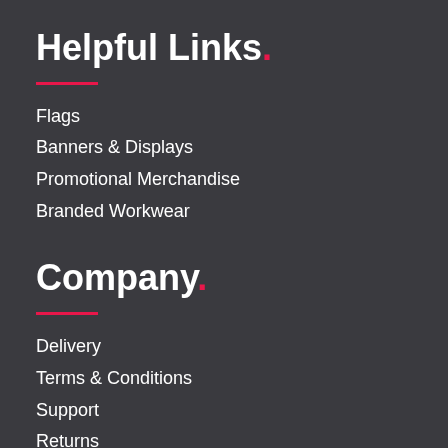Helpful Links.
Flags
Banners & Displays
Promotional Merchandise
Branded Workwear
Company.
Delivery
Terms & Conditions
Support
Returns